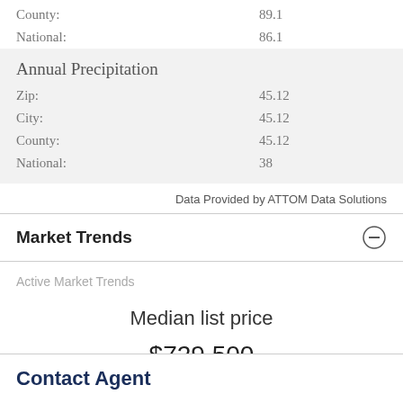County: 89.1
National: 86.1
Annual Precipitation
Zip: 45.12
City: 45.12
County: 45.12
National: 38
Data Provided by ATTOM Data Solutions
Market Trends
Active Market Trends
Median list price
$729,500
Contact Agent